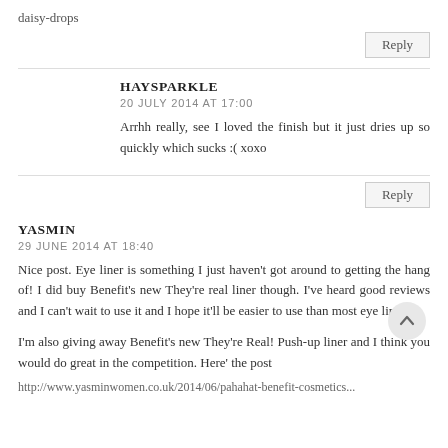daisy-drops
Reply
HAYSPARKLE
20 JULY 2014 AT 17:00
Arrhh really, see I loved the finish but it just dries up so quickly which sucks :( xoxo
Reply
YASMIN
29 JUNE 2014 AT 18:40
Nice post. Eye liner is something I just haven't got around to getting the hang of! I did buy Benefit's new They're real liner though. I've heard good reviews and I can't wait to use it and I hope it'll be easier to use than most eye liners.
I'm also giving away Benefit's new They're Real! Push-up liner and I think you would do great in the competition. Here' the post
http://www.yasminwomen.co.uk/2014/06/pahahat-benefit-cosmetics...